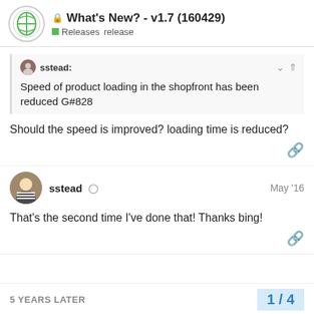What's New? - v1.7 (160429) | Releases release
sstead:
Speed of product loading in the shopfront has been reduced G#828
Should the speed is improved? loading time is reduced?
sstead May '16
That's the second time I've done that! Thanks bing!
5 YEARS LATER
1 / 4